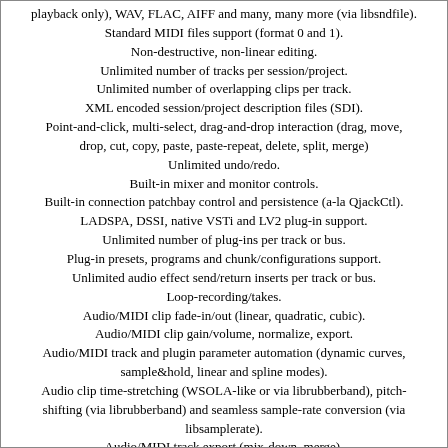playback only), WAV, FLAC, AIFF and many, many more (via libsndfile).
Standard MIDI files support (format 0 and 1).
Non-destructive, non-linear editing.
Unlimited number of tracks per session/project.
Unlimited number of overlapping clips per track.
XML encoded session/project description files (SDI).
Point-and-click, multi-select, drag-and-drop interaction (drag, move, drop, cut, copy, paste, paste-repeat, delete, split, merge)
Unlimited undo/redo.
Built-in mixer and monitor controls.
Built-in connection patchbay control and persistence (a-la QjackCtl).
LADSPA, DSSI, native VSTi and LV2 plug-in support.
Unlimited number of plug-ins per track or bus.
Plug-in presets, programs and chunk/configurations support.
Unlimited audio effect send/return inserts per track or bus.
Loop-recording/takes.
Audio/MIDI clip fade-in/out (linear, quadratic, cubic).
Audio/MIDI clip gain/volume, normalize, export.
Audio/MIDI track and plugin parameter automation (dynamic curves, sample&hold, linear and spline modes).
Audio clip time-stretching (WSOLA-like or via librubberband), pitch-shifting (via librubberband) and seamless sample-rate conversion (via libsamplerate).
Audio/MIDI track export (mix-down, merge).
Audio/MIDI metronome bar/beat clicks.
Unlimited tempo/time-signature map.
Unlimited location/bar markers.